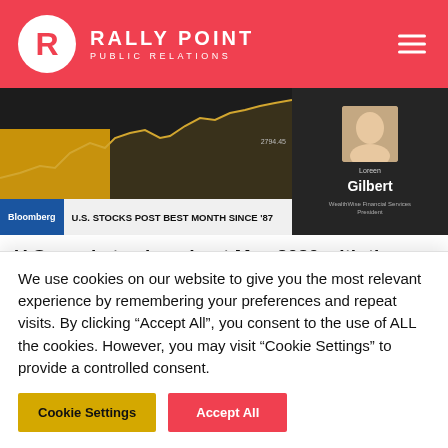Rally Point Public Relations
[Figure (screenshot): Bloomberg TV screenshot showing a stock chart with the headline 'U.S. STOCKS POST BEST MONTH SINCE '87' and a woman identified as Loreen Gilbert, WealthWise Financial Services President]
U.S. markets closed out May 2020 with the best performance since 1987. But that does
We use cookies on our website to give you the most relevant experience by remembering your preferences and repeat visits. By clicking "Accept All", you consent to the use of ALL the cookies. However, you may visit "Cookie Settings" to provide a controlled consent.